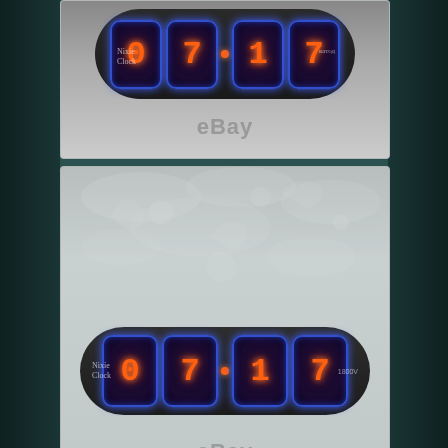[Figure (photo): Close-up photo of a Nixie tube clock with dark wooden body showing time 07:17 with glowing orange digits and blue LED backlighting, eBay watermark visible]
[Figure (photo): Full view of Nixie tube clock showing 07:17 on dark wooden base with floral/fairy engraving on brushed metal surface behind it, eBay watermark visible]
[Figure (photo): Partial view of brushed metal surface with white silhouette engraving of a figure on horseback, partially cropped]